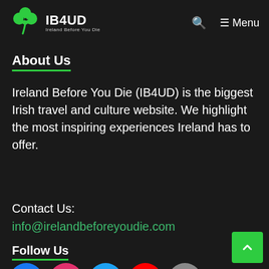IB4UD Ireland Before You Die — Menu
About Us
Ireland Before You Die (IB4UD) is the biggest Irish travel and culture website. We highlight the most inspiring experiences Ireland has to offer.
Contact Us:
info@irelandbeforeyoudie.com
Follow Us
[Figure (other): Row of five social media icon circles: Facebook (blue), Instagram (pink/magenta), Twitter (light blue), YouTube (red), TikTok (grey)]